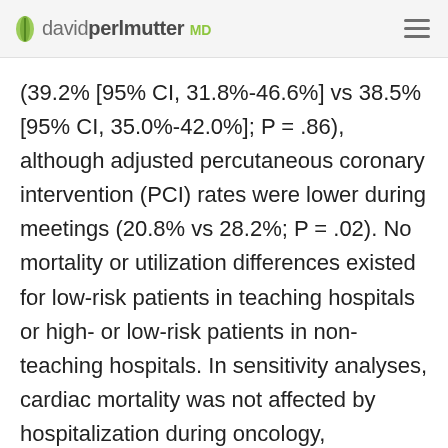davidperlmutter MD
(39.2% [95% CI, 31.8%-46.6%] vs 38.5% [95% CI, 35.0%-42.0%]; P = .86), although adjusted percutaneous coronary intervention (PCI) rates were lower during meetings (20.8% vs 28.2%; P = .02). No mortality or utilization differences existed for low-risk patients in teaching hospitals or high- or low-risk patients in non-teaching hospitals. In sensitivity analyses, cardiac mortality was not affected by hospitalization during oncology, gastroenterology, and orthopedics meetings, nor was gastrointestinal hemorrhage or hip